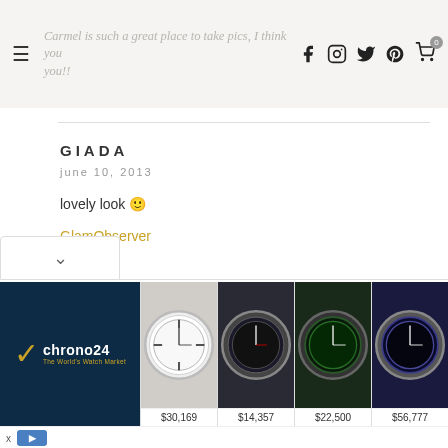Carmel is such a great place to take pics, I think you... [social icons: Facebook, Instagram, Twitter, Pinterest, Cart]
GIADA
june 10, 2013
lovely look 🙂
GlamObserver
Bloglovin'
Facebook
Twitter
reply
[Figure (advertisement): Chrono24 watch marketplace ad banner showing logo and four luxury watches with prices: $30,169, $14,357, $22,500, $56,777]